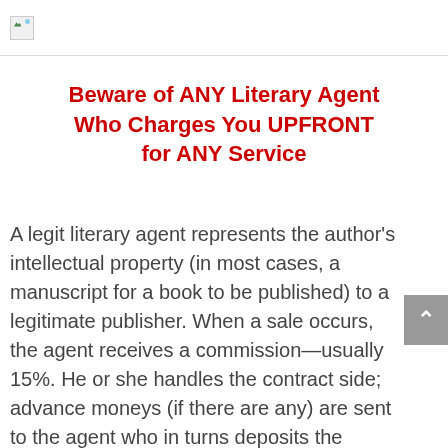[Figure (illustration): Broken image placeholder icon in top-left of header area]
Beware of ANY Literary Agent Who Charges You UPFRONT for ANY Service
A legit literary agent represents the author's intellectual property (in most cases, a manuscript for a book to be published) to a legitimate publisher. When a sale occurs, the agent receives a commission—usually 15%. He or she handles the contract side; advance moneys (if there are any) are sent to the agent who in turns deposits the check and immediately sends the author 85%, hopefully